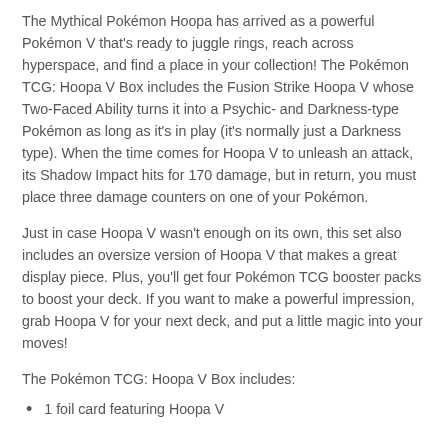The Mythical Pokémon Hoopa has arrived as a powerful Pokémon V that's ready to juggle rings, reach across hyperspace, and find a place in your collection! The Pokémon TCG: Hoopa V Box includes the Fusion Strike Hoopa V whose Two-Faced Ability turns it into a Psychic- and Darkness-type Pokémon as long as it's in play (it's normally just a Darkness type). When the time comes for Hoopa V to unleash an attack, its Shadow Impact hits for 170 damage, but in return, you must place three damage counters on one of your Pokémon.
Just in case Hoopa V wasn't enough on its own, this set also includes an oversize version of Hoopa V that makes a great display piece. Plus, you'll get four Pokémon TCG booster packs to boost your deck. If you want to make a powerful impression, grab Hoopa V for your next deck, and put a little magic into your moves!
The Pokémon TCG: Hoopa V Box includes:
1 foil card featuring Hoopa V